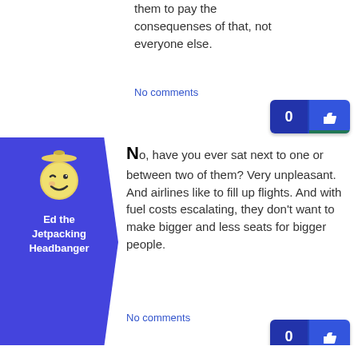them to pay the consequenses of that, not everyone else.
No comments
[Figure (illustration): Blue avatar box with winking face emoji and username 'Ed the Jetpacking Headbanger']
No, have you ever sat next to one or between two of them? Very unpleasant. And airlines like to fill up flights. And with fuel costs escalating, they don't want to make bigger and less seats for bigger people.
No comments
[Figure (illustration): Partial blue avatar box with hourglass figure at bottom of page]
It's only fair, why should I pay